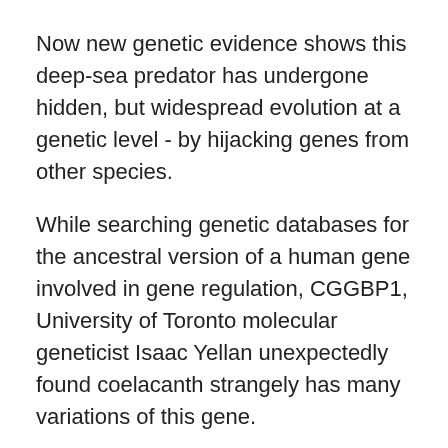Now new genetic evidence shows this deep-sea predator has undergone hidden, but widespread evolution at a genetic level - by hijacking genes from other species.
While searching genetic databases for the ancestral version of a human gene involved in gene regulation, CGGBP1, University of Toronto molecular geneticist Isaac Yellan unexpectedly found coelacanth strangely has many variations of this gene.
Even more unusually, these different variations of the CGGBP genes didn't all share a common ancestor with each other. This suggests that at some points around 10 million years ago, 62 of